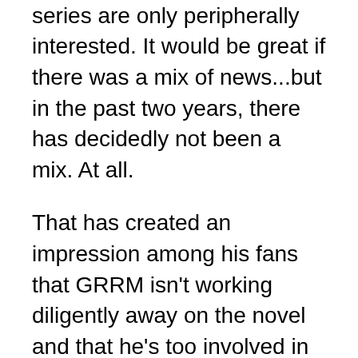things which most fans of the series are only peripherally interested. It would be great if there was a mix of news...but in the past two years, there has decidedly not been a mix. At all.
That has created an impression among his fans that GRRM isn't working diligently away on the novel and that he's too involved in all these other things he's talking about - and not about SoIaF.
This impressions may not be true - but it is the impression that has